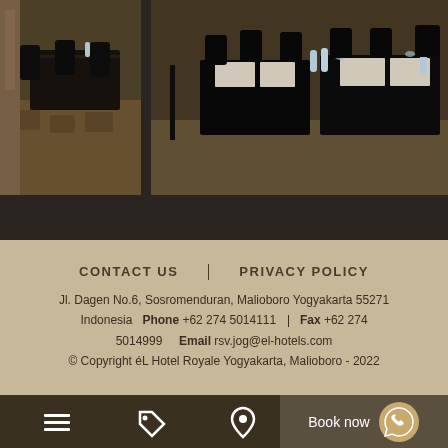[Figure (photo): Two conference room photos side by side showing black-clothed tables with chairs in a hotel ballroom setting. Left photo shows traditional carpet and wooden decor. Right photo shows modern setup with water bottles on tables.]
CONTACT US   PRIVACY POLICY
Jl. Dagen No.6, Sosromenduran, Malioboro Yogyakarta 55271 Indonesia   Phone +62 274 5014111  |  Fax +62 274 5014999   Email rsv.jog@el-hotels.com
© Copyright éL Hotel Royale Yogyakarta, Malioboro - 2022
[Figure (infographic): Bottom navigation bar with hamburger menu icon, tag icon, and location pin icon on dark background. Book now button on right with WhatsApp icon.]